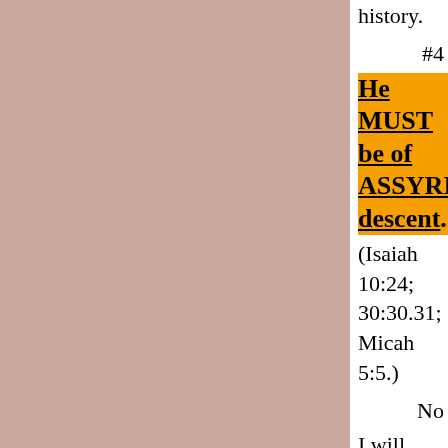history.
#4
He MUST be of ASSYRIAN descent.
(Isaiah 10:24; 30:30.31; Micah 5:5.)
No
I will explain only some